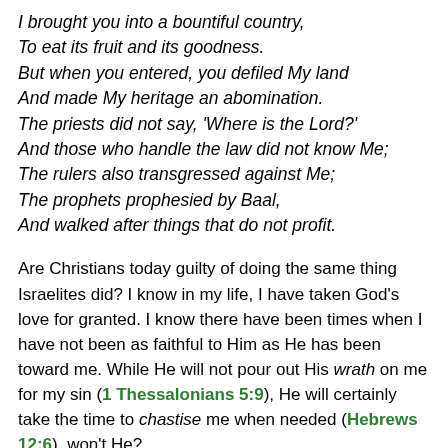I brought you into a bountiful country,
To eat its fruit and its goodness.
But when you entered, you defiled My land
And made My heritage an abomination.
The priests did not say, 'Where is the Lord?'
And those who handle the law did not know Me;
The rulers also transgressed against Me;
The prophets prophesied by Baal,
And walked after things that do not profit.
Are Christians today guilty of doing the same thing Israelites did? I know in my life, I have taken God's love for granted. I know there have been times when I have not been as faithful to Him as He has been toward me. While He will not pour out His wrath on me for my sin (1 Thessalonians 5:9), He will certainly take the time to chastise me when needed (Hebrews 12:6), won't He?